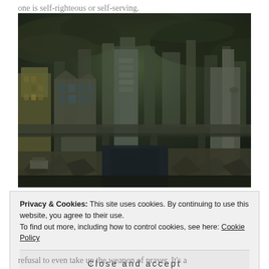one is self-righteous or self-serving.
[Figure (illustration): A dark dystopian cityscape showing destroyed and ruined skyscrapers under a stormy, dark cloudy sky. Rubble and debris fill the foreground with a flooded channel or road in the center.]
Privacy & Cookies: This site uses cookies. By continuing to use this website, you agree to their use. To find out more, including how to control cookies, see here: Cookie Policy
Close and accept
refusal to even take up the weapon of prayer. It's a